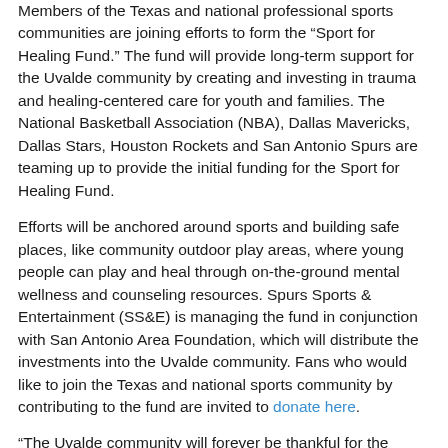Members of the Texas and national professional sports communities are joining efforts to form the “Sport for Healing Fund.” The fund will provide long-term support for the Uvalde community by creating and investing in trauma and healing-centered care for youth and families. The National Basketball Association (NBA), Dallas Mavericks, Dallas Stars, Houston Rockets and San Antonio Spurs are teaming up to provide the initial funding for the Sport for Healing Fund.
Efforts will be anchored around sports and building safe places, like community outdoor play areas, where young people can play and heal through on-the-ground mental wellness and counseling resources. Spurs Sports & Entertainment (SS&E) is managing the fund in conjunction with San Antonio Area Foundation, which will distribute the investments into the Uvalde community. Fans who would like to join the Texas and national sports community by contributing to the fund are invited to donate here.
“The Uvalde community will forever be thankful for the generous partnerships established to pay tribute and remember our loved ones,” said Rob Fowler, City of Uvalde Parks and Recreation